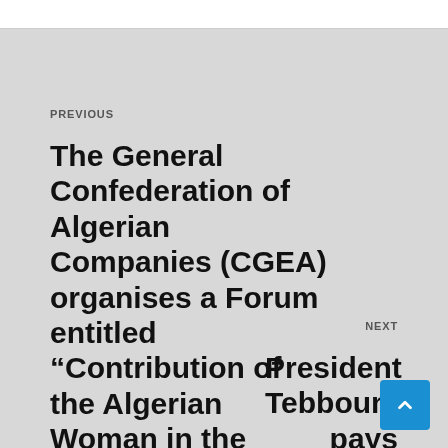PREVIOUS
The General Confederation of Algerian Companies (CGEA) organises a Forum entitled “Contribution of the Algerian Woman in the Development of
NEXT
President Tebboune pays tribute to the memory of November